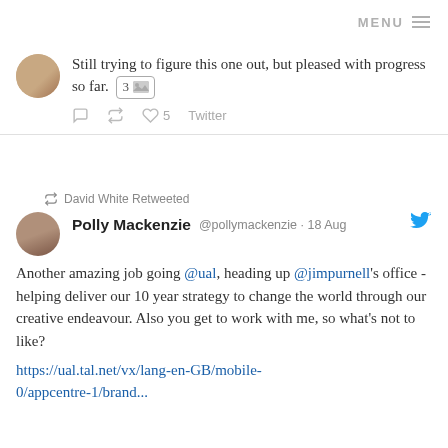MENU
Still trying to figure this one out, but pleased with progress so far. 3 [image]
David White Retweeted
Polly Mackenzie @pollymackenzie · 18 Aug
Another amazing job going @ual, heading up @jimpurnell's office - helping deliver our 10 year strategy to change the world through our creative endeavour. Also you get to work with me, so what's not to like?
https://ual.tal.net/vx/lang-en-GB/mobile-0/appcentre-1/brand...